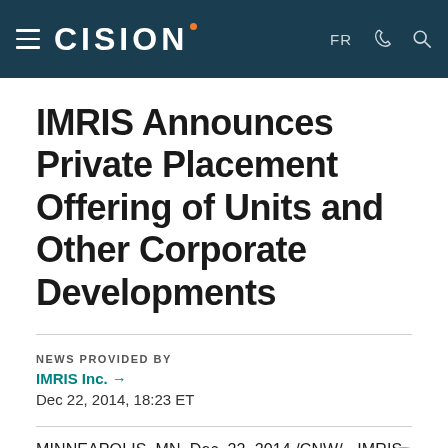CISION
IMRIS Announces Private Placement Offering of Units and Other Corporate Developments
NEWS PROVIDED BY
IMRIS Inc. →
Dec 22, 2014, 18:23 ET
MINNEAPOLIS, MN, Dec. 22, 2014 /CNW/ - IMRIS Inc.